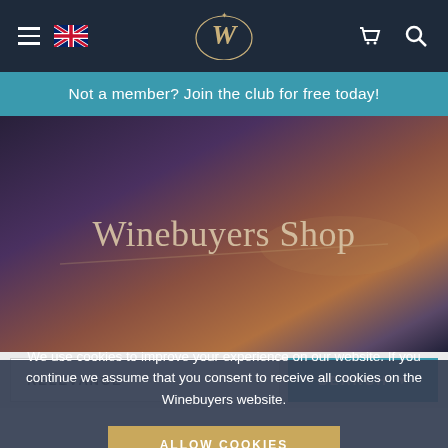[Figure (screenshot): Navigation bar with hamburger menu, UK flag, Winebuyers W logo, cart icon, and search icon on dark navy background]
Not a member? Join the club for free today!
Winebuyers Shop
RELEVANCE
SEARCH
We use cookies to improve your experience on our website. If you continue we assume that you consent to receive all cookies on the Winebuyers website.
ALLOW COOKIES